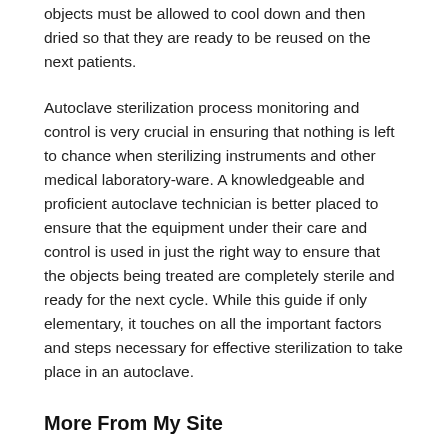objects must be allowed to cool down and then dried so that they are ready to be reused on the next patients.
Autoclave sterilization process monitoring and control is very crucial in ensuring that nothing is left to chance when sterilizing instruments and other medical laboratory-ware. A knowledgeable and proficient autoclave technician is better placed to ensure that the equipment under their care and control is used in just the right way to ensure that the objects being treated are completely sterile and ready for the next cycle. While this guide if only elementary, it touches on all the important factors and steps necessary for effective sterilization to take place in an autoclave.
More From My Site
[Figure (photo): Photo of UV light sterilization equipment — blue-lit chamber with UV lamps]
UV Light Sterilization